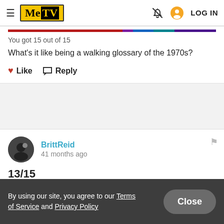MeTV  LOG IN
You got 15 out of 15
What's it like being a walking glossary of the 1970s?
Like  Reply
BrittReid
41 months ago
13/15
By using our site, you agree to our Terms of Service and Privacy Policy
ndebrabant
45 months ago